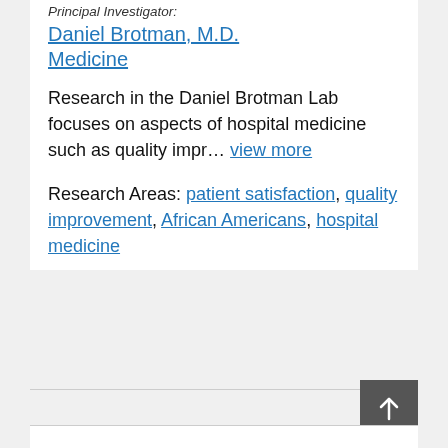Principal Investigator:
Daniel Brotman, M.D.
Medicine
Research in the Daniel Brotman Lab focuses on aspects of hospital medicine such as quality impr… view more
Research Areas: patient satisfaction, quality improvement, African Americans, hospital medicine